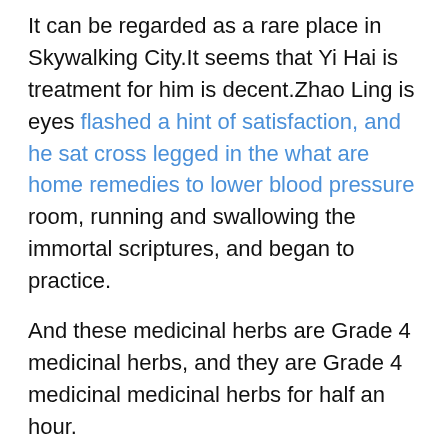It can be regarded as a rare place in Skywalking City.It seems that Yi Hai is treatment for him is decent.Zhao Ling is eyes flashed a hint of satisfaction, and he sat cross legged in the what are home remedies to lower blood pressure room, running and swallowing the immortal scriptures, and began to practice.
And these medicinal herbs are Grade 4 medicinal herbs, and they are Grade 4 medicinal medicinal herbs for half an hour.
In his body, that extremely small bead is gradually expanding at this moment.Suddenly, an explosion sounded.That small bead burst open, and then turned into one after another of essence, and began to nourish Zhao Ling is body.
But this kind of medicine pill is not so easy to refine.The barren world is barren, and there are no medicinal herbs tight chest high blood pressure that can be refined.Fire Heart what are home remedies to lower blood pressure...